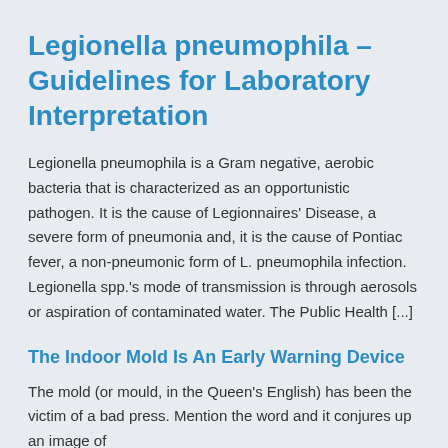Legionella pneumophila – Guidelines for Laboratory Interpretation
Legionella pneumophila is a Gram negative, aerobic bacteria that is characterized as an opportunistic pathogen. It is the cause of Legionnaires' Disease, a severe form of pneumonia and, it is the cause of Pontiac fever, a non-pneumonic form of L. pneumophila infection. Legionella spp.'s mode of transmission is through aerosols or aspiration of contaminated water. The Public Health [...]
The Indoor Mold Is An Early Warning Device
The mold (or mould, in the Queen's English) has been the victim of a bad press. Mention the word and it conjures up an image of